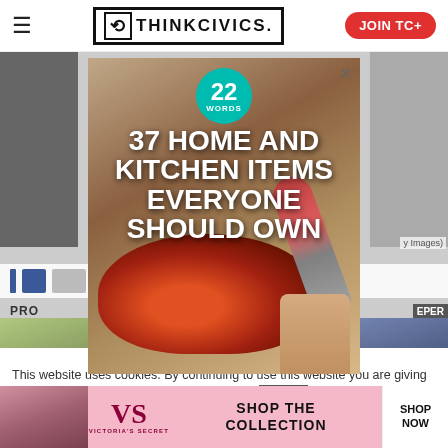ThinkCivics. — JOIN TC+
[Figure (screenshot): Advertisement overlay showing '37 HOME AND KITCHEN ITEMS EVERYONE SHOULD OWN' with a pizza cutter image and 22 WORDS badge, covering the main page content]
PRO
EPER
This website uses cookies. By continuing to use this website you are giving consent to cookies being used. Visit our Priv... Cookie
CLOSE
[Figure (photo): Victoria's Secret advertisement banner at bottom with model photo, VS logo, SHOP THE COLLECTION text, and SHOP NOW button]